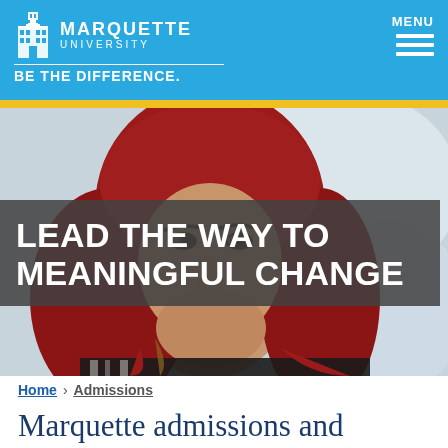[Figure (logo): Marquette University logo with tower icon, name, and 'BE THE DIFFERENCE.' tagline on blue header background]
[Figure (photo): Young woman wearing a red hijab, looking slightly to the side, with blurred background. Hero image for Marquette University admissions page.]
LEAD THE WAY TO MEANINGFUL CHANGE
Home > Admissions
Marquette admissions and deadlines